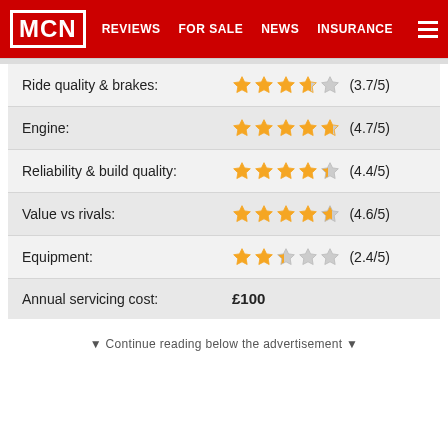MCN | REVIEWS | FOR SALE | NEWS | INSURANCE
| Category | Rating |
| --- | --- |
| Ride quality & brakes: | ★★★★☆ (3.7/5) |
| Engine: | ★★★★★ (4.7/5) |
| Reliability & build quality: | ★★★★½ (4.4/5) |
| Value vs rivals: | ★★★★½ (4.6/5) |
| Equipment: | ★★½☆☆ (2.4/5) |
| Annual servicing cost: | £100 |
▼ Continue reading below the advertisement ▼